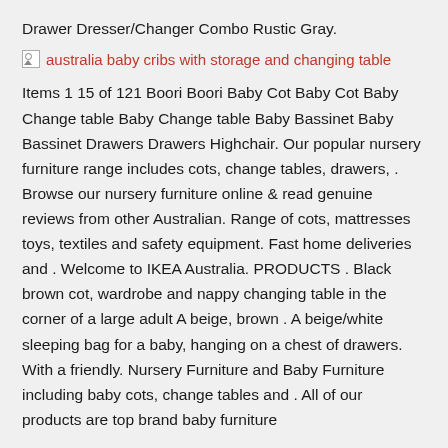Drawer Dresser/Changer Combo Rustic Gray.
[Figure (photo): Broken image placeholder with alt text: australia baby cribs with storage and changing table]
Items 1 15 of 121 Boori Boori Baby Cot Baby Cot Baby Change table Baby Change table Baby Bassinet Baby Bassinet Drawers Drawers Highchair. Our popular nursery furniture range includes cots, change tables, drawers, . Browse our nursery furniture online & read genuine reviews from other Australian. Range of cots, mattresses toys, textiles and safety equipment. Fast home deliveries and . Welcome to IKEA Australia. PRODUCTS . Black brown cot, wardrobe and nappy changing table in the corner of a large adult A beige, brown . A beige/white sleeping bag for a baby, hanging on a chest of drawers. With a friendly. Nursery Furniture and Baby Furniture including baby cots, change tables and . All of our products are top brand baby furniture